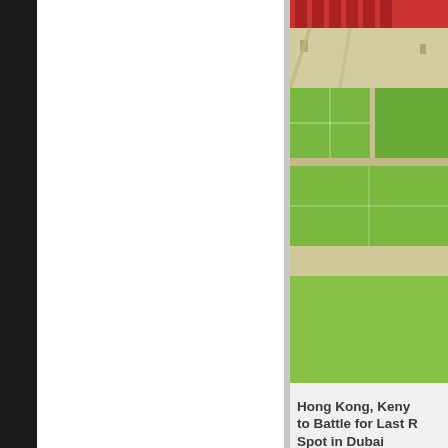[Figure (photo): Aerial photograph of green sports fields with red grandstand structures at top, roads and pathways visible, light-colored surface areas]
Hong Kong, Kenya to Battle for Last R Spot in Dubai
[Figure (photo): Portrait of a bearded man with brown hair wearing an orange shirt, against a light cream/beige background]